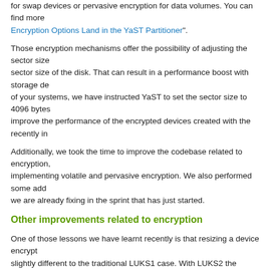for swap devices or pervasive encryption for data volumes. You can find more Encryption Options Land in the YaST Partitioner".
Those encryption mechanisms offer the possibility of adjusting the sector size of the disk. That can result in a performance boost with storage devices of your systems, we have instructed YaST to set the sector size to 4096 bytes improve the performance of the encrypted devices created with the recently in
Additionally, we took the time to improve the codebase related to encryption, implementing volatile and pervasive encryption. We also performed some add we are already fixing in the sprint that has just started.
Other improvements related to encryption
One of those lessons we have learnt recently is that resizing a device encrypt slightly different to the traditional LUKS1 case. With LUKS2 the password mu even if the device is already open and active. So we changed how libstorage- user to make it possible to resize LUKS2 devices in several situations, althoug not be possible to use the YaST Partitioner to resize a LUKS2 device.
As a side effect of the new passwords management, now the process that an beginning of the installation should be more pleasant in scenarios like the one where there are many encrypted devices but the user doesn't want to activate
And talking about improvements based on our users' feedback, we have also